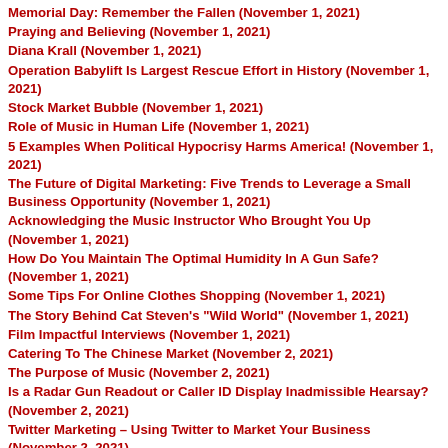Memorial Day: Remember the Fallen (November 1, 2021)
Praying and Believing (November 1, 2021)
Diana Krall (November 1, 2021)
Operation Babylift Is Largest Rescue Effort in History (November 1, 2021)
Stock Market Bubble (November 1, 2021)
Role of Music in Human Life (November 1, 2021)
5 Examples When Political Hypocrisy Harms America! (November 1, 2021)
The Future of Digital Marketing: Five Trends to Leverage a Small Business Opportunity (November 1, 2021)
Acknowledging the Music Instructor Who Brought You Up (November 1, 2021)
How Do You Maintain The Optimal Humidity In A Gun Safe? (November 1, 2021)
Some Tips For Online Clothes Shopping (November 1, 2021)
The Story Behind Cat Steven's "Wild World" (November 1, 2021)
Film Impactful Interviews (November 1, 2021)
Catering To The Chinese Market (November 2, 2021)
The Purpose of Music (November 2, 2021)
Is a Radar Gun Readout or Caller ID Display Inadmissible Hearsay? (November 2, 2021)
Twitter Marketing – Using Twitter to Market Your Business (November 2, 2021)